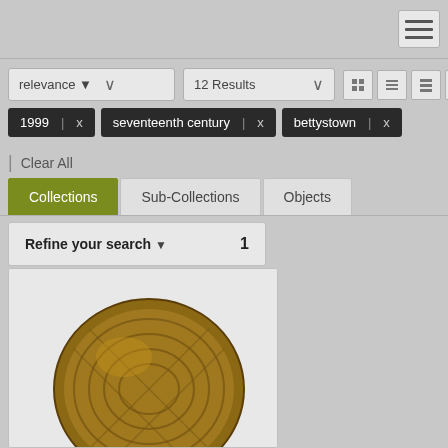[Figure (screenshot): Navigation hamburger menu button in top right corner]
relevance ▼ ∨
12 Results ∨
1999 | x
seventeenth century | x
bettystown | x
Clear All
Collections
Sub-Collections
Objects
Refine your search ▼  1
[Figure (photo): Partial view of a brown woven or braided object, possibly a basket or textile artifact]